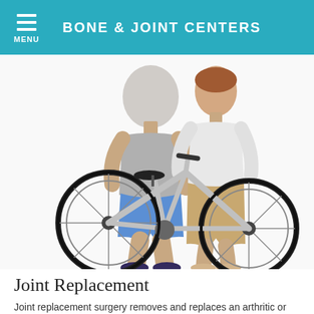BONE & JOINT CENTERS
[Figure (photo): Two elderly people, a man in a gray sleeveless shirt and blue shorts and a woman in a white long-sleeve shirt and tan pants, standing with a silver and black bicycle against a white background.]
Joint Replacement
Joint replacement surgery removes and replaces an arthritic or